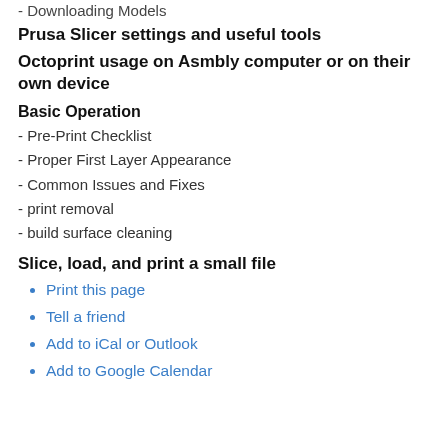- Downloading Models
Prusa Slicer settings and useful tools
Octoprint usage on Asmbly computer or on their own device
Basic Operation
- Pre-Print Checklist
- Proper First Layer Appearance
- Common Issues and Fixes
- print removal
- build surface cleaning
Slice, load, and print a small file
Print this page
Tell a friend
Add to iCal or Outlook
Add to Google Calendar